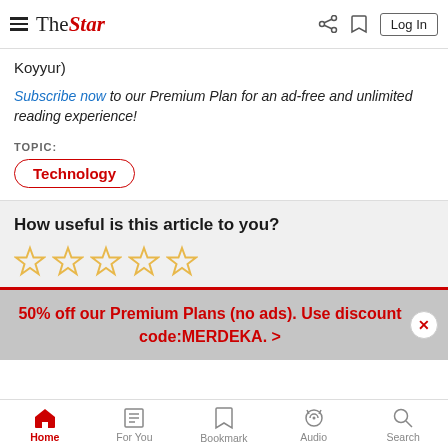The Star - Log In
Koyyur)
Subscribe now to our Premium Plan for an ad-free and unlimited reading experience!
TOPIC:
Technology
How useful is this article to you?
50% off our Premium Plans (no ads). Use discount code:MERDEKA. >
Home | For You | Bookmark | Audio | Search